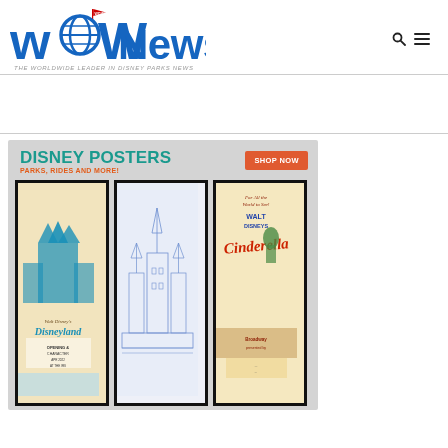[Figure (logo): WDW News Today logo — blue globe and text 'WDW News Today' with red WDWNT flag banner, tagline: THE WORLDWIDE LEADER IN DISNEY PARKS NEWS]
[Figure (infographic): Disney Posters advertisement banner. Header: DISNEY POSTERS / PARKS, RIDES AND MORE! with a red SHOP NOW button. Three framed poster images: Walt Disney's Disneyland vintage poster, a blue architectural blueprint of a castle, and Walt Disney's Cinderella movie poster.]